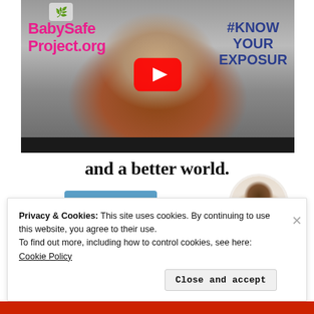[Figure (screenshot): YouTube video thumbnail showing a woman in a red jacket speaking at a microphone. Text overlays read 'BabySafe Project.org' in pink on the left and '#KNOW YOUR EXPOSUR' in dark blue on the right. A red YouTube play button is centered on the image.]
and a better world.
[Figure (photo): Circular cropped photo of a man thinking, hand on chin, on a light background.]
Apply
Privacy & Cookies: This site uses cookies. By continuing to use this website, you agree to their use.
To find out more, including how to control cookies, see here: Cookie Policy
Close and accept